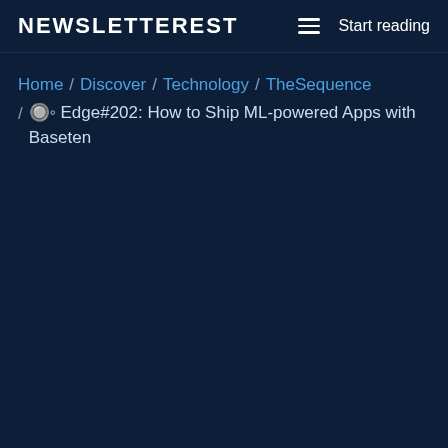NEWSLETTEREST  ☰  Start reading
Home / Discover / Technology / TheSequence / 🔘 Edge#202: How to Ship ML-powered Apps with Baseten